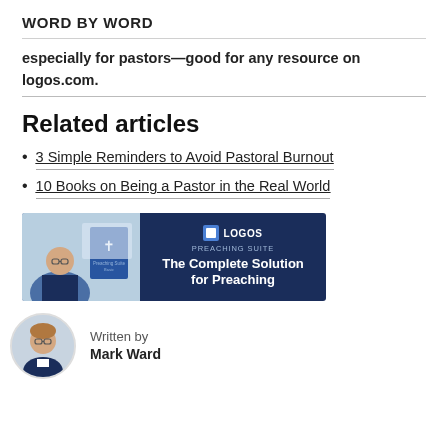WORD BY WORD
especially for pastors—good for any resource on logos.com.
Related articles
3 Simple Reminders to Avoid Pastoral Burnout
10 Books on Being a Pastor in the Real World
[Figure (other): Logos Preaching Suite advertisement banner showing a person at a computer, a book with a cross, and text: LOGOS PREACHING SUITE The Complete Solution for Preaching]
Written by
Mark Ward